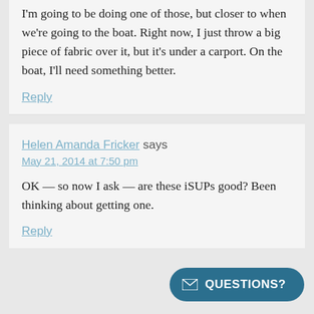I'm going to be doing one of those, but closer to when we're going to the boat. Right now, I just throw a big piece of fabric over it, but it's under a carport. On the boat, I'll need something better.
Reply
Helen Amanda Fricker says
May 21, 2014 at 7:50 pm
OK — so now I ask — are these iSUPs good? Been thinking about getting one.
Reply
QUESTIONS?